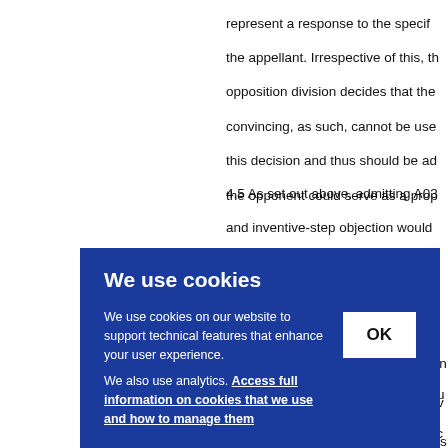represent a response to the specif the appellant. Irrespective of this, t opposition division decides that the convincing, as such, cannot be use this decision and thus should be a the opponent could serve as a pro
4.5 As set out above, admitting A03 and inventive-step objection would appeal proceedings. In such a situ
ocee ould r to re oppos
We use cookies
We use cookies on our website to support technical features that enhance your user experience. We also use analytics. Access full information on cookies that we use and how to manage them
OK
t argu d to c teria admil to tal